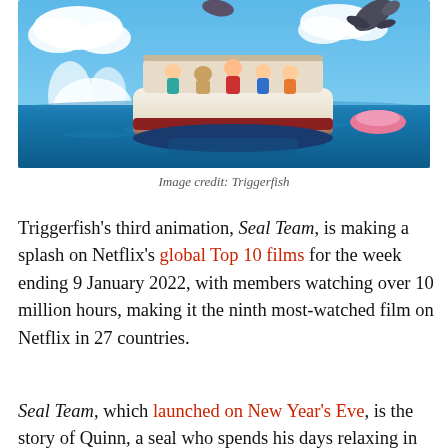[Figure (illustration): Animated scene showing characters on a boat on the ocean with sea creatures jumping around, blue sky with clouds. Triggerfish animation style.]
Image credit: Triggerfish
Triggerfish’s third animation, Seal Team, is making a splash on Netflix’s global Top 10 films for the week ending 9 January 2022, with members watching over 10 million hours, making it the ninth most-watched film on Netflix in 27 countries.
Seal Team, which launched on New Year’s Eve, is the story of Quinn, a seal who spends his days relaxing in